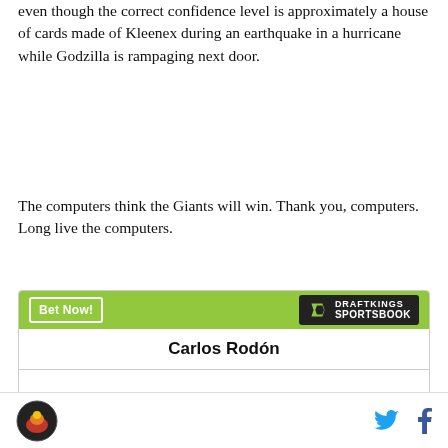even though the correct confidence level is approximately a house of cards made of Kleenex during an earthquake in a hurricane while Godzilla is rampaging next door.
The computers think the Giants will win. Thank you, computers. Long live the computers.
[Figure (other): DraftKings Sportsbook betting widget showing Carlos Rodón to win NL Cy Young at +4500 odds]
Site logo | Twitter icon | Facebook icon